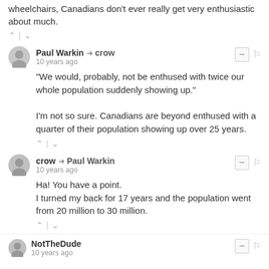wheelchairs, Canadians don't ever really get very enthusiastic about much.
Paul Warkin → crow
10 years ago
"We would, probably, not be enthused with twice our whole population suddenly showing up."

I'm not so sure. Canadians are beyond enthused with a quarter of their population showing up over 25 years.
crow → Paul Warkin
10 years ago
Ha! You have a point.
I turned my back for 17 years and the population went from 20 million to 30 million.
NotTheDude
10 years ago